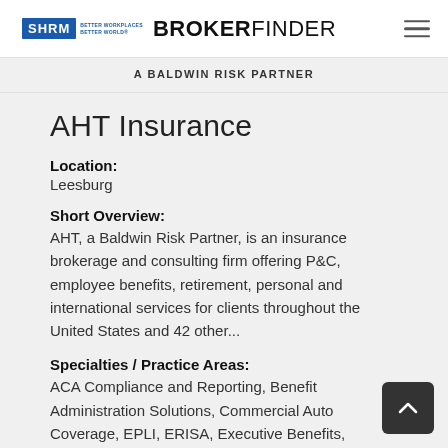SHRM BROKERFINDER
A BALDWIN RISK PARTNER
AHT Insurance
Location:
Leesburg
Short Overview:
AHT, a Baldwin Risk Partner, is an insurance brokerage and consulting firm offering P&C, employee benefits, retirement, personal and international services for clients throughout the United States and 42 other...
Specialties / Practice Areas:
ACA Compliance and Reporting, Benefit Administration Solutions, Commercial Auto Coverage, EPLI, ERISA, Executive Benefits, Financial Wellness, FMLA/Leave & Absence Management, Group Disability, Group Health Insurance, Group Life/AD&D, Human Resources Solutions, Insurance periodicals, newsletters, and websites, PEO